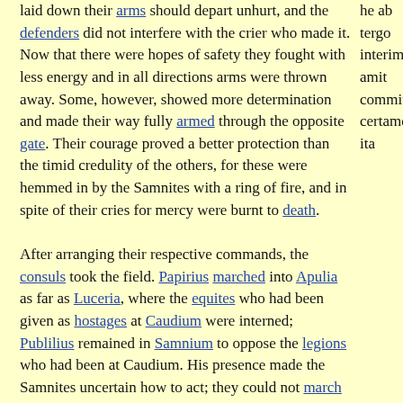laid down their arms should depart unhurt, and the defenders did not interfere with the crier who made it. Now that there were hopes of safety they fought with less energy and in all directions arms were thrown away. Some, however, showed more determination and made their way fully armed through the opposite gate. Their courage proved a better protection than the timid credulity of the others, for these were hemmed in by the Samnites with a ring of fire, and in spite of their cries for mercy were burnt to death.
After arranging their respective commands, the consuls took the field. Papirius marched into Apulia as far as Luceria, where the equites who had been given as hostages at Caudium were interned; Publilius remained in Samnium to oppose the legions who had been at Caudium. His presence made the Samnites uncertain how to act; they could not march to Luceria for fear of exposing themselves to a rear attack, nor did they feel satisfied to remain where they were, as Luceria might in the meantime he lost. They decided that the best course would be to try their fortune and hazard a battle with Publilius.
Event: Third war with the Samnites. The Caudine Fork